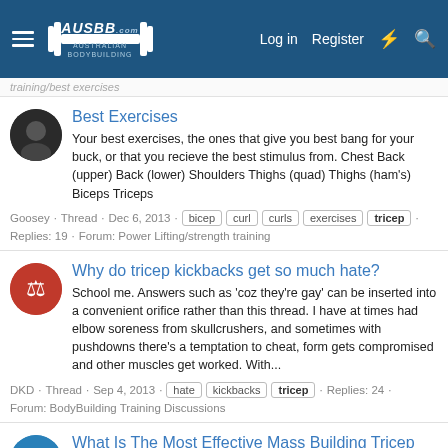AUSBB Australian Bodybuilding | Log in | Register
training/best exercises
Best Exercises
Your best exercises, the ones that give you best bang for your buck, or that you recieve the best stimulus from. Chest Back (upper) Back (lower) Shoulders Thighs (quad) Thighs (ham's) Biceps Triceps
Goosey · Thread · Dec 6, 2013 · bicep curl curls exercises tricep · Replies: 19 · Forum: Power Lifting/strength training
Why do tricep kickbacks get so much hate?
School me. Answers such as 'coz they're gay' can be inserted into a convenient orifice rather than this thread. I have at times had elbow soreness from skullcrushers, and sometimes with pushdowns there's a temptation to cheat, form gets compromised and other muscles get worked. With...
DKD · Thread · Sep 4, 2013 · hate kickbacks tricep · Replies: 24 · Forum: BodyBuilding Training Discussions
What Is The Most Effective Mass Building Tricep